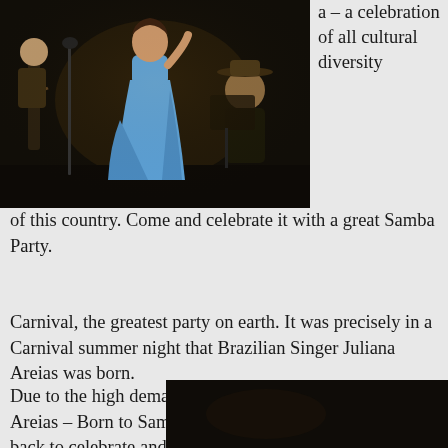[Figure (photo): Musicians performing on stage — a woman in a blue dress singing, another musician with a guitar, and a man in a hat in the background]
a – a celebration of all cultural diversity of this country. Come and celebrate it with a great Samba Party.
Carnival, the greatest party on earth. It was precisely in a Carnival summer night that Brazilian Singer Juliana Areias was born.
Due to the high demand and incredible success of Juliana Areias – Born to Samba Concert on 7 February, she is back to celebrate and create her own carnival in Perth, bringing to the Ellington Jazz Club a taste of this unique atmosphere again. The concert embraces sensuous Brazilian rhythms featuring some of the finest Sambas
[Figure (photo): Dark performance photo at bottom right of the page]